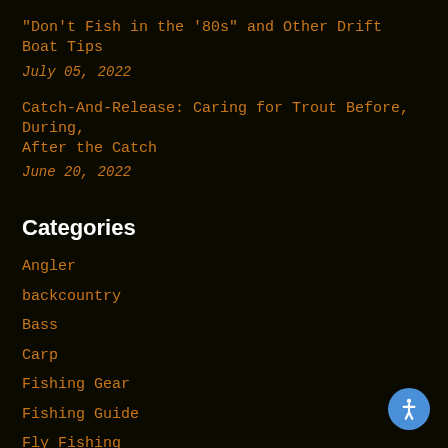"Don't Fish in the '80s" and Other Drift Boat Tips
July 05, 2022
Catch-And-Release: Caring for Trout Before, During, After the Catch
June 20, 2022
Categories
Angler
backcountry
Bass
Carp
Fishing Gear
Fishing Guide
Fly Fishing